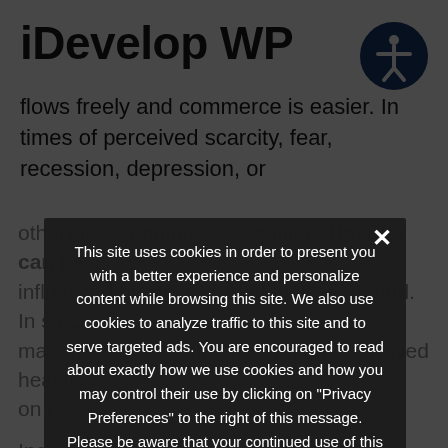iDevelop WP
flows freely and commerce is easier. In times of perceived scarcity, fear, recession, depression, or otherwise, commerce is stymied. Results can be influenced by stock market indices around the world are swayed heavily on news.
Income property purchased should be though they can be investments In a business It is not unreasonable... express return on the investment, per se. Often, business success is the convergence of a number of factors, methods, on. It can be hard to peg success method or machination. This does not necessarily undermine value of any
This site uses cookies in order to present you with a better experience and personalize content while browsing this site. We also use cookies to analyze traffic to this site and to serve targeted ads. You are encouraged to read about exactly how we use cookies and how you may control their use by clicking on "Privacy Preferences" to the right of this message. Please be aware that your continued use of this site constitutes your consent to our use of cookies.
› Privacy Preferences
I Agree